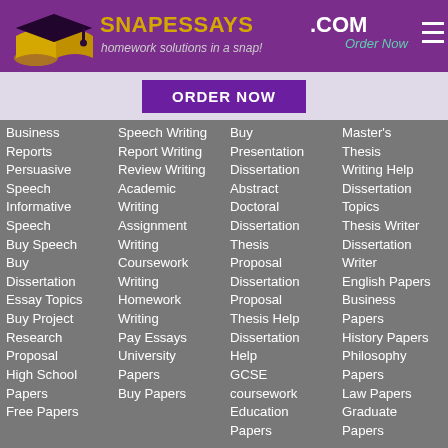[Figure (logo): SnapEssays.com logo with graduation cap icon and tagline 'homework solutions in a snap!']
Order Now
ORDER NOW
Business
Reports
Persuasive
Speech
Informative
Speech
Buy Speech
Buy
Dissertation
Essay Topics
Buy Project
Research
Proposal
High School
Papers
Free Papers
Speech Writing
Report Writing
Review Writing
Academic
Writing
Assignment
Writing
Coursework
Writing
Homework
Writing
Pay Essays
University
Papers
Buy Papers
Buy
Presentation
Dissertation
Abstract
Doctoral
Dissertation
Thesis
Proposal
Dissertation
Proposal
Thesis Help
Dissertation
Help
GCSE
coursework
Education
Papers
Master's
Thesis
Writing Help
Dissertation
Topics
Thesis Writer
Dissertation
Writer
English Papers
Business
Papers
History Papers
Philosophy
Papers
Law Papers
Graduate
Papers